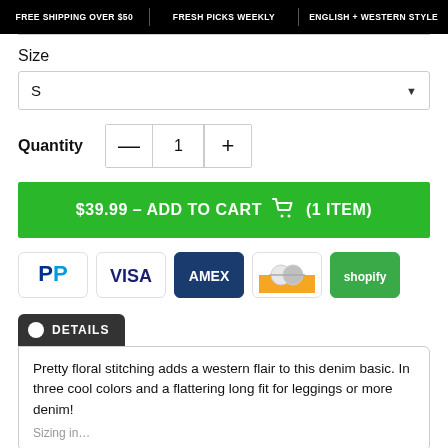FREE SHIPPING OVER $50 | FRESH PICKS WEEKLY | ENGLISH + WESTERN STYLE
Size
S
Quantity  1
$39.99 – ADD TO CART (1 ITEM)
[Figure (other): Payment method icons: PayPal, VISA, AMEX, generic card, Shopify]
DETAILS
Pretty floral stitching adds a western flair to this denim basic. In three cool colors and a flattering long fit for leggings or more denim!